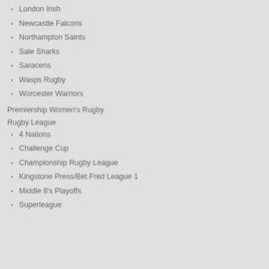London Irish
Newcastle Falcons
Northampton Saints
Sale Sharks
Saracens
Wasps Rugby
Worcester Warriors
Premiership Women's Rugby
Rugby League
4 Nations
Challenge Cup
Championship Rugby League
Kingstone Press/Bet Fred League 1
Middle 8's Playoffs
Superleague